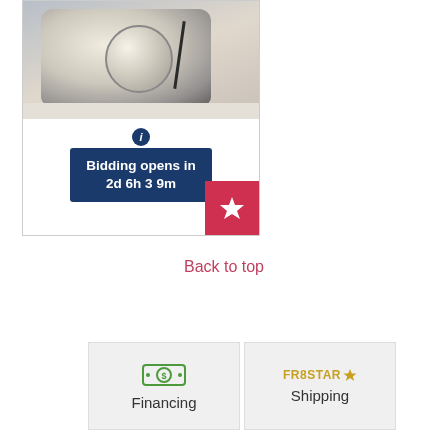[Figure (photo): Product listing card showing a mechanical component (appears to be a motor or pump part), with a dark navy 'Bidding opens in 2d 6h 39m' overlay banner and a red star/favorite button in the bottom right corner.]
Back to top
[Figure (infographic): Financing button with green money/dollar icon and text 'Financing']
[Figure (infographic): Shipping button with FR8STAR logo (yellow/gold FR8STAR with star icon) and text 'Shipping']